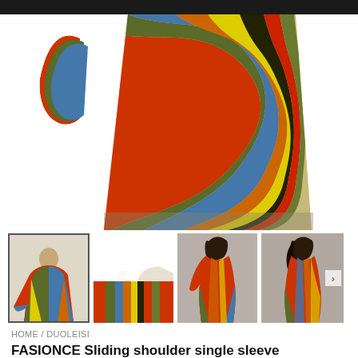[Figure (photo): Main product photo: close-up of colorful swirling stripe pattern dress, cropped to show mid-section and sleeve detail on white background]
[Figure (photo): Thumbnail 1 (selected): full body of colorful stripe dress on mannequin/model]
[Figure (photo): Thumbnail 2: close-up of dress fabric showing colorful stripes and white lining]
[Figure (photo): Thumbnail 3: model wearing colorful stripe dress, front view]
[Figure (photo): Thumbnail 4: model wearing colorful stripe dress, side/back view]
HOME / DUOLEISI
FASIONCE Sliding shoulder single sleeve